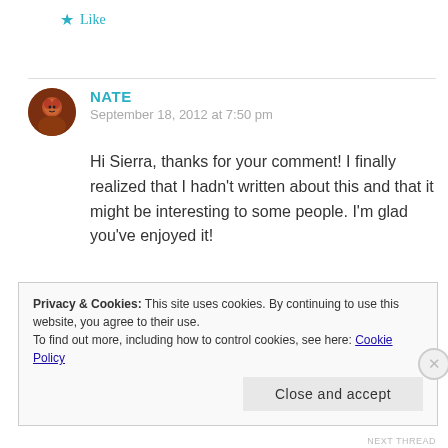Like
NATE
September 18, 2012 at 7:50 pm
Hi Sierra, thanks for your comment! I finally realized that I hadn't written about this and that it might be interesting to some people. I'm glad you've enjoyed it!
Privacy & Cookies: This site uses cookies. By continuing to use this website, you agree to their use.
To find out more, including how to control cookies, see here: Cookie Policy
Close and accept